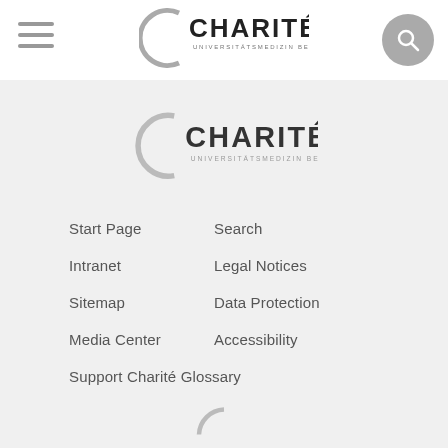[Figure (logo): Charité Universitätsmedizin Berlin logo in header navigation bar]
[Figure (logo): Charité Universitätsmedizin Berlin logo centered on gray background]
Start Page
Search
Intranet
Legal Notices
Sitemap
Data Protection
Media Center
Accessibility
Support Charité Glossary
[Figure (logo): Partial Charité logo at bottom of page (cropped)]